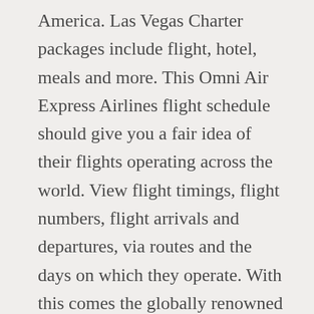America. Las Vegas Charter packages include flight, hotel, meals and more. This Omni Air Express Airlines flight schedule should give you a fair idea of their flights operating across the world. View flight timings, flight numbers, flight arrivals and departures, via routes and the days on which they operate. With this comes the globally renowned exam from the International Air Transport Association (IATA). Upgrade today to get access to more features and data. This Omni Air International Airlines flight schedule should give you a fair idea of their flights operating across the world. We use third-party cookies for analytics tracking. Hiring event with other potential applicants. Please check our On Demand API Flight